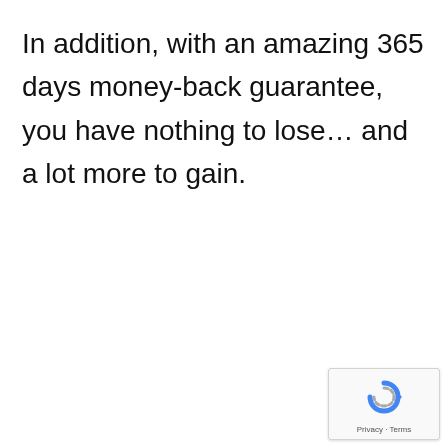In addition, with an amazing 365 days money-back guarantee, you have nothing to lose… and a lot more to gain.
[Figure (logo): reCAPTCHA badge with spinning arrow logo icon and 'Privacy - Terms' text below]